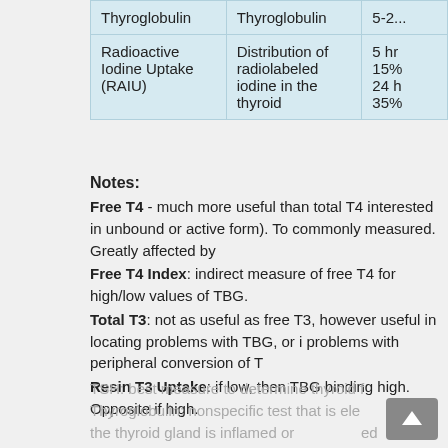| Test | Description | Values |
| --- | --- | --- |
| Thyroglobulin | Thyroglobulin | 5-25... |
| Radioactive Iodine Uptake (RAIU) | Distribution of radiolabeled iodine in the thyroid | 5 hr 15%  24 h 35% |
Notes:
Free T4 - much more useful than total T4 interested in unbound or active form). To commonly measured. Greatly affected by
Free T4 Index: indirect measure of free T4 for high/low values of TBG.
Total T3: not as useful as free T3, however useful in locating problems with TBG, or i problems with peripheral conversion of T
Resin T3 Uptake: if low, then TBG binding high. Opposite if high.
TSH: best measure to determine thyroid f Thyroglobulin: nonspecific test that is ele the thyroid gland is inflamed or ed